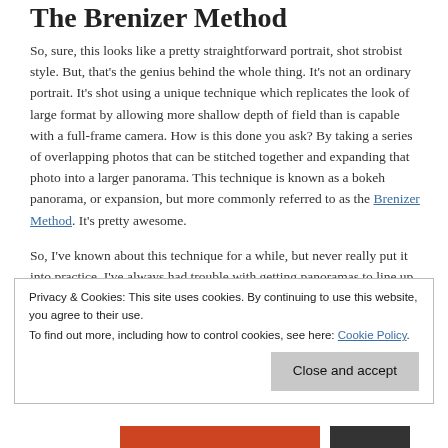The Brenizer Method
So, sure, this looks like a pretty straightforward portrait, shot strobist style. But, that's the genius behind the whole thing. It's not an ordinary portrait. It's shot using a unique technique which replicates the look of large format by allowing more shallow depth of field than is capable with a full-frame camera. How is this done you ask? By taking a series of overlapping photos that can be stitched together and expanding that photo into a larger panorama. This technique is known as a bokeh panorama, or expansion, but more commonly referred to as the Brenizer Method. It's pretty awesome.
So, I've known about this technique for a while, but never really put it into practice. I've always had trouble with getting panoramas to line up and stitch together properly, but I think that's likely because
Privacy & Cookies: This site uses cookies. By continuing to use this website, you agree to their use.
To find out more, including how to control cookies, see here: Cookie Policy
Close and accept